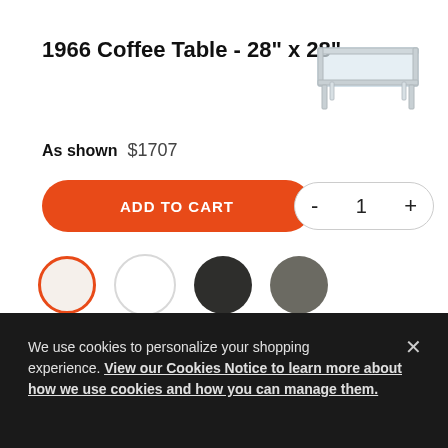1966 Coffee Table - 28" x 28"
As shown  $1707
[Figure (photo): Product photo of white metal coffee table with glass top, viewed from slight angle]
ADD TO CART
[Figure (illustration): Quantity selector showing minus button, 1, plus button in pill-shaped control]
[Figure (illustration): Four color swatches: first selected with orange border (white/cream), second plain white, third dark charcoal, fourth medium gray]
2.Select Base Color:  White
We use cookies to personalize your shopping experience. View our Cookies Notice to learn more about how we use cookies and how you can manage them.